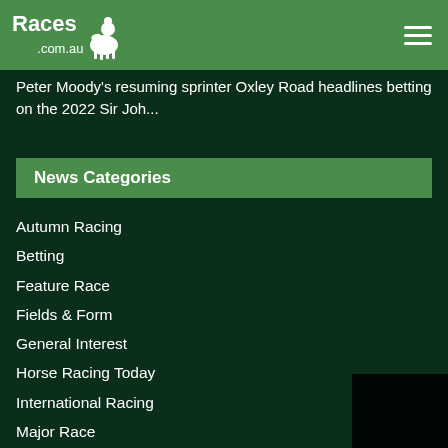Races.com.au
Peter Moody's resuming sprinter Oxley Road headlines betting on the 2022 Sir Joh...
News Categories
Autumn Racing
Betting
Feature Race
Fields & Form
General Interest
Horse Racing Today
International Racing
Major Race
Media Release
Melbourne Cup
News
Race Previews
Race Results